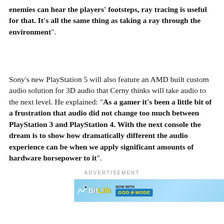enemies can hear the players' footsteps, ray tracing is useful for that. It's all the same thing as taking a ray through the environment".
Sony's new PlayStation 5 will also feature an AMD built custom audio solution for 3D audio that Cerny thinks will take audio to the next level. He explained: "As a gamer it's been a little bit of a frustration that audio did not change too much between PlayStation 3 and PlayStation 4. With the next console the dream is to show how dramatically different the audio experience can be when we apply significant amounts of hardware horsepower to it".
ADVERTISEMENT
[Figure (screenshot): BitLife advertisement banner: 'NOW WITH GOD MODE' with animated hand/finger graphic on blue background]